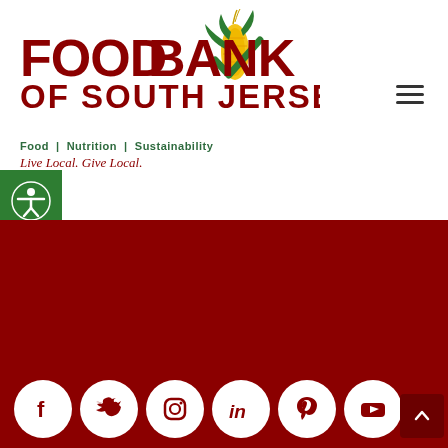[Figure (logo): Food Bank of South Jersey logo with corn graphic and green checkmark]
Food | Nutrition | Sustainability
Live Local. Give Local.
[Figure (illustration): Accessibility icon button on green background]
1501 John Tipton Blvd.  |  Pennsauken, NJ 08110
P: 856-662-4884  |  F: 856-662-4489  |  info@foodbanksj.org
[Figure (infographic): Social media icons: Facebook, Twitter, Instagram, LinkedIn, Pinterest, YouTube]